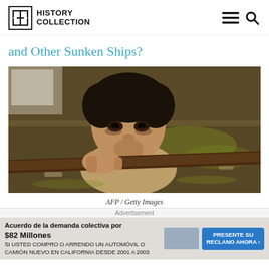HISTORY COLLECTION
and Other Sunken Ships?
[Figure (photo): A young boy submerged in murky floodwater, holding onto a wooden pole or log, looking directly at the camera with a serious expression.]
AFP / Getty Images
Advertisement
Acuerdo de la demanda colectiva por $82 Millones SI USTED COMPRO O ARRENDO UN AUTOMÓVIL O CAMIÓN NUEVO EN CALIFORNIA DESDE 2001 A 2003